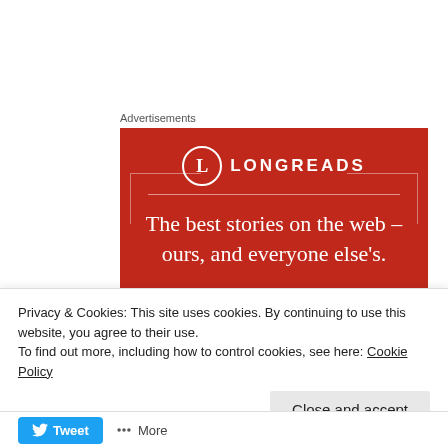Advertisements
[Figure (illustration): Longreads advertisement banner on red background. Shows the Longreads logo (circle with L), the text 'The best stories on the web – ours, and everyone else's.' and a dark 'Start reading' button.]
Privacy & Cookies: This site uses cookies. By continuing to use this website, you agree to their use.
To find out more, including how to control cookies, see here: Cookie Policy
Close and accept
Tweet
More